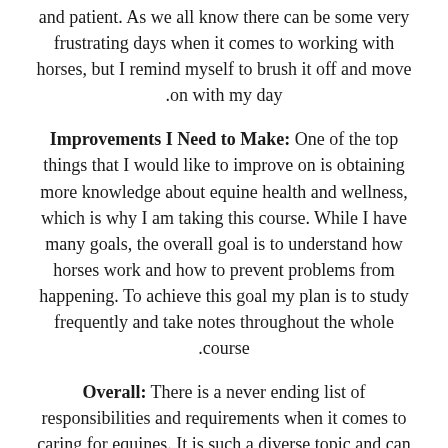and patient. As we all know there can be some very frustrating days when it comes to working with horses, but I remind myself to brush it off and move on with my day.
Improvements I Need to Make: One of the top things that I would like to improve on is obtaining more knowledge about equine health and wellness, which is why I am taking this course. While I have many goals, the overall goal is to understand how horses work and how to prevent problems from happening. To achieve this goal my plan is to study frequently and take notes throughout the whole course.
Overall: There is a never ending list of responsibilities and requirements when it comes to caring for equines. It is such a diverse topic and can be done in so many different ways based on the